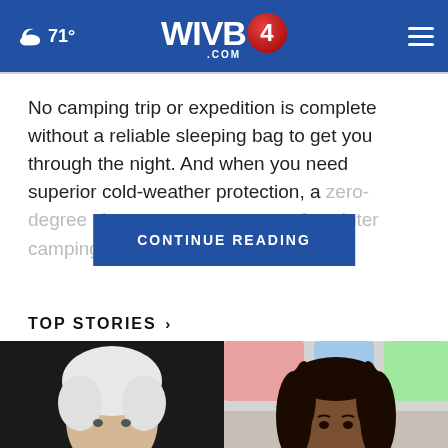71° WIVB4.COM
No camping trip or expedition is complete without a reliable sleeping bag to get you through the night. And when you need superior cold-weather protection, a zero-degree sl... e for winter camping.
TOP STORIES ›
[Figure (photo): Two side-by-side headshot photos: left shows a person with white/gray hair against a dark background; right shows a woman with dark locs against a colorful background.]